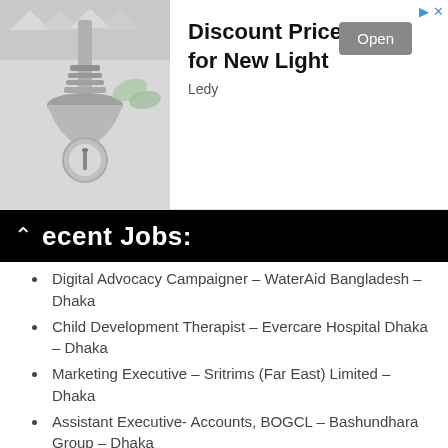[Figure (photo): Advertisement banner showing a light fixture product photo on the left, with bold text 'Discount Price for New Light', brand name 'Ledy', and an 'Open' button on the right.]
Recent Jobs:
Digital Advocacy Campaigner – WaterAid Bangladesh – Dhaka
Child Development Therapist – Evercare Hospital Dhaka – Dhaka
Marketing Executive – Sritrims (Far East) Limited – Dhaka
Assistant Executive- Accounts, BOGCL – Bashundhara Group – Dhaka
Assistant Executive- Accounts (VAT), BOGCL – Bashundhara Group – Dhaka
Emergency Medical Officer – Shahabuddin Medical College & Hospital – Dhaka